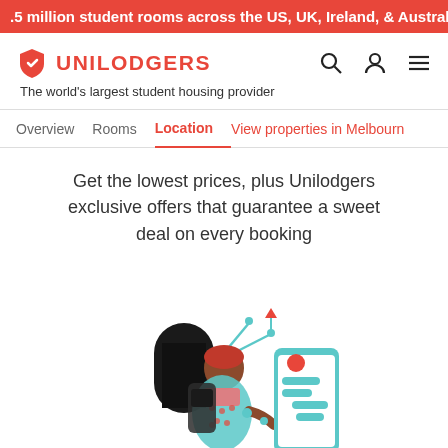.5 million student rooms across the US, UK, Ireland, & Australia
UNILODGERS
The world's largest student housing provider
Overview   Rooms   Location   View properties in Melbourne
Get the lowest prices, plus Unilodgers exclusive offers that guarantee a sweet deal on every booking
[Figure (illustration): Illustration of a person with a backpack looking at a large smartphone displaying a chat interface, with teal circuit-like connectors around them. Drawn in coral/red and teal color scheme.]